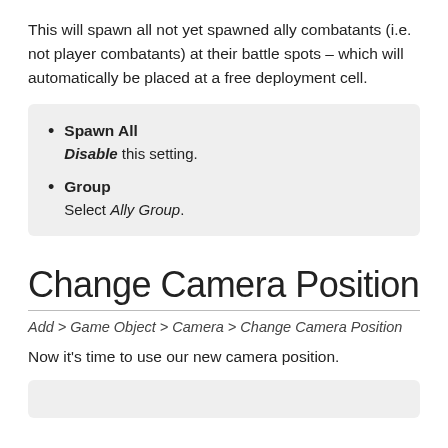This will spawn all not yet spawned ally combatants (i.e. not player combatants) at their battle spots – which will automatically be placed at a free deployment cell.
Spawn All — Disable this setting.
Group — Select Ally Group.
Change Camera Position
Add > Game Object > Camera > Change Camera Position
Now it's time to use our new camera position.